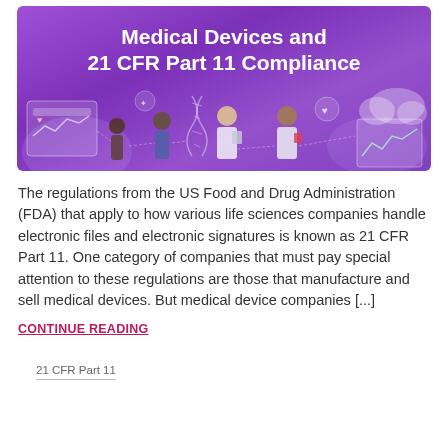[Figure (illustration): Banner graphic with purple background showing the title 'Medical Devices and 21 CFR Part 11 Compliance' with illustrated medical professionals and digital interface elements]
The regulations from the US Food and Drug Administration (FDA) that apply to how various life sciences companies handle electronic files and electronic signatures is known as 21 CFR Part 11. One category of companies that must pay special attention to these regulations are those that manufacture and sell medical devices. But medical device companies [...]
CONTINUE READING
21 CFR Part 11